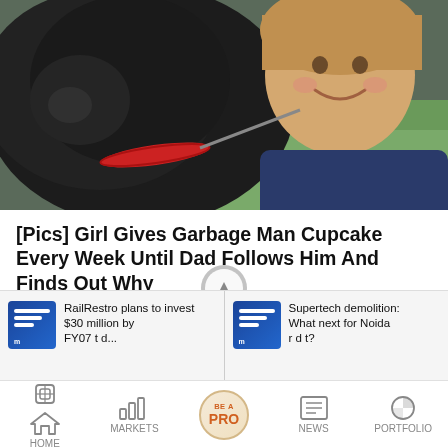[Figure (photo): Photo of a young child smiling alongside a black dog, outdoors on grass]
[Pics] Girl Gives Garbage Man Cupcake Every Week Until Dad Follows Him And Finds Out Why
HealthyGem
[Figure (screenshot): Two news card thumbnails at bottom: 'RailRestro plans to invest $30 million by FY27...' and 'Supertech demolition: What next for Noida residents?']
HOME  MARKETS  BE A PRO  NEWS  PORTFOLIO